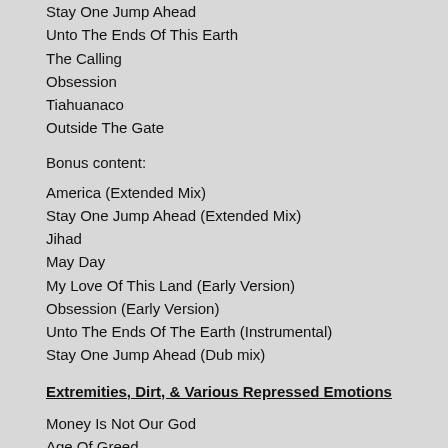Stay One Jump Ahead
Unto The Ends Of This Earth
The Calling
Obsession
Tiahuanaco
Outside The Gate
Bonus content:
America (Extended Mix)
Stay One Jump Ahead (Extended Mix)
Jihad
May Day
My Love Of This Land (Early Version)
Obsession (Early Version)
Unto The Ends Of The Earth (Instrumental)
Stay One Jump Ahead (Dub mix)
Extremities, Dirt, & Various Repressed Emotions
Money Is Not Our God
Age Of Greed
The Beautiful Dead
Extremities
Intravenous
Solitude
Inside The...